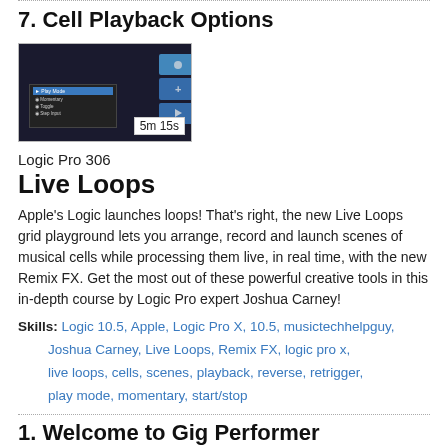7. Cell Playback Options
[Figure (screenshot): Screenshot of Logic Pro Live Loops grid with cell options and duration badge '5m 15s']
Logic Pro 306
Live Loops
Apple's Logic launches loops! That's right, the new Live Loops grid playground lets you arrange, record and launch scenes of musical cells while processing them live, in real time, with the new Remix FX. Get the most out of these powerful creative tools in this in-depth course by Logic Pro expert Joshua Carney!
Skills: Logic 10.5, Apple, Logic Pro X, 10.5, musictechhelpguy, Joshua Carney, Live Loops, Remix FX, logic pro x, live loops, cells, scenes, playback, reverse, retrigger, play mode, momentary, start/stop
1. Welcome to Gig Performer
[Figure (screenshot): Screenshot thumbnail of Gig Performer software interface]